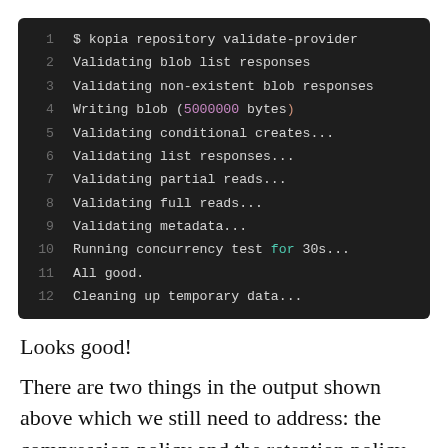[Figure (screenshot): Terminal/code block showing output of '$ kopia repository validate-provider' command with 12 numbered lines of output on a dark background. Line 4 has colored text: '5000000' in purple and 'bytes)' in orange. Line 10 has 'for' in cyan.]
Looks good!
There are two things in the output shown above which we still need to address: the compression policy and the retention policy.